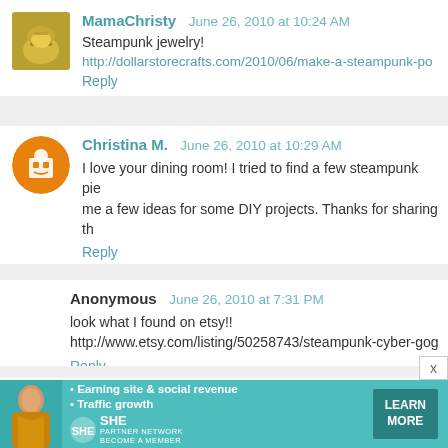MamaChristy  June 26, 2010 at 10:24 AM
Steampunk jewelry!
http://dollarstorecrafts.com/2010/06/make-a-steampunk-po...
Reply
Christina M.  June 26, 2010 at 10:29 AM
I love your dining room! I tried to find a few steampunk pie... me a few ideas for some DIY projects. Thanks for sharing th...
Reply
Anonymous  June 26, 2010 at 7:31 PM
look what I found on etsy!!
http://www.etsy.com/listing/50258743/steampunk-cyber-gog...
Reply
Anonymous  June 28, 2010 at 12:58 PM
[Figure (infographic): SHE Partner Network advertisement banner with woman photo, bullet points about earning site & social revenue and traffic growth, SHE logo, and Learn More button]